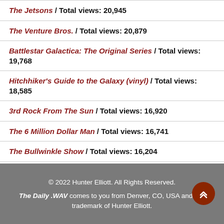The Jetsons / Total views: 20,945
The Venture Bros. / Total views: 20,879
Battlestar Galactica: The Original Series / Total views: 19,768
Hitchhiker's Guide to the Galaxy (vinyl) / Total views: 18,585
3rd Rock From The Sun / Total views: 16,920
The 6 Million Dollar Man / Total views: 16,741
The Bullwinkle Show / Total views: 16,204
Daria / Total views: 15,854
© 2022 Hunter Elliott. All Rights Reserved. The Daily .WAV comes to you from Denver, CO, USA and is a trademark of Hunter Elliott.